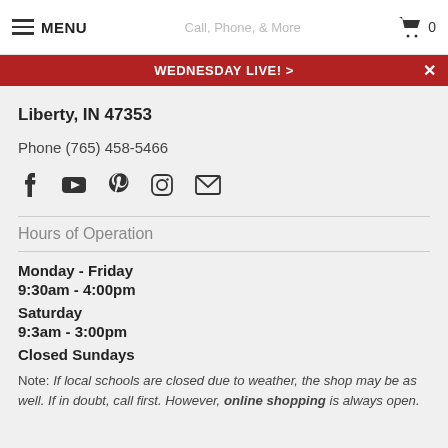MENU  [cart] 0
WEDNESDAY LIVE! >
Liberty, IN 47353
Phone (765) 458-5466
[Figure (infographic): Row of social media icons: Facebook, YouTube, Pinterest, Instagram, Email]
Hours of Operation
Monday - Friday
9:30am - 4:00pm
Saturday
9:3am - 3:00pm
Closed Sundays
Note: If local schools are closed due to weather, the shop may be as well. If in doubt, call first. However, online shopping is always open.